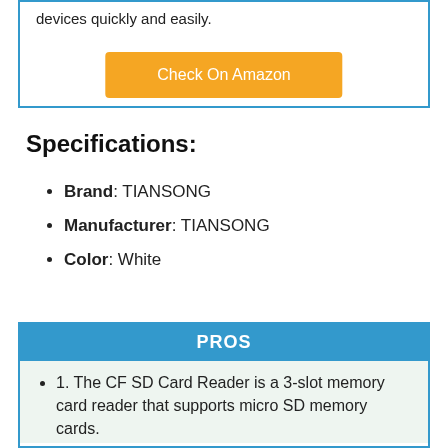devices quickly and easily.
Check On Amazon
Specifications:
Brand: TIANSONG
Manufacturer: TIANSONG
Color: White
PROS
1. The CF SD Card Reader is a 3-slot memory card reader that supports micro SD memory cards.
2. It is compatible with Mac Book Pro/Air M1...